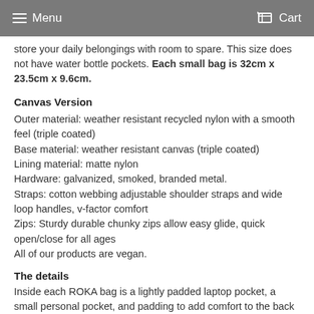Menu  Cart
store your daily belongings with room to spare. This size does not have water bottle pockets. Each small bag is 32cm x 23.5cm x 9.6cm.
Canvas Version
Outer material: weather resistant recycled nylon with a smooth feel (triple coated)
Base material: weather resistant canvas (triple coated)
Lining material: matte nylon
Hardware: galvanized, smoked, branded metal.
Straps: cotton webbing adjustable shoulder straps and wide loop handles, v-factor comfort
Zips: Sturdy durable chunky zips allow easy glide, quick open/close for all ages
All of our products are vegan.
The details
Inside each ROKA bag is a lightly padded laptop pocket, a small personal pocket, and padding to add comfort to the back when